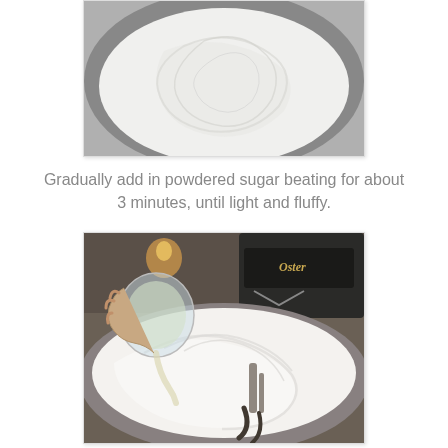[Figure (photo): Top portion of a bowl showing white fluffy mixture, partially cropped at the top of the page.]
Gradually add in powdered sugar beating for about 3 minutes, until light and fluffy.
[Figure (photo): A hand pouring liquid from a small glass bowl into a stand mixer bowl with white fluffy cream. An Oster stand mixer is visible in the background.]